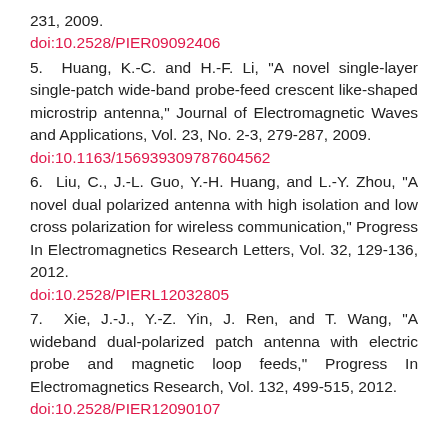231, 2009.
doi:10.2528/PIER09092406
5. Huang, K.-C. and H.-F. Li, "A novel single-layer single-patch wide-band probe-feed crescent like-shaped microstrip antenna," Journal of Electromagnetic Waves and Applications, Vol. 23, No. 2-3, 279-287, 2009.
doi:10.1163/156939309787604562
6. Liu, C., J.-L. Guo, Y.-H. Huang, and L.-Y. Zhou, "A novel dual polarized antenna with high isolation and low cross polarization for wireless communication," Progress In Electromagnetics Research Letters, Vol. 32, 129-136, 2012.
doi:10.2528/PIERL12032805
7. Xie, J.-J., Y.-Z. Yin, J. Ren, and T. Wang, "A wideband dual-polarized patch antenna with electric probe and magnetic loop feeds," Progress In Electromagnetics Research, Vol. 132, 499-515, 2012.
doi:10.2528/PIER12090107